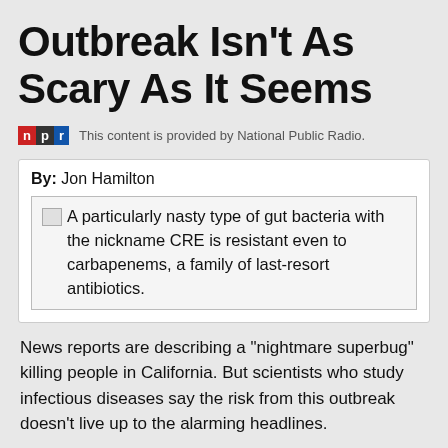Outbreak Isn't As Scary As It Seems
This content is provided by National Public Radio.
By: Jon Hamilton
A particularly nasty type of gut bacteria with the nickname CRE is resistant even to carbapenems, a family of last-resort antibiotics.
News reports are describing a "nightmare superbug" killing people in California. But scientists who study infectious diseases say the risk from this outbreak doesn't live up to the alarming headlines.